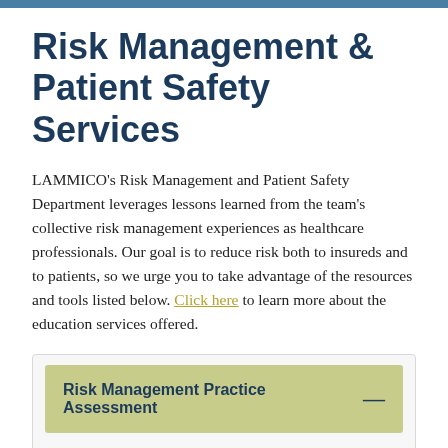Risk Management & Patient Safety Services
LAMMICO's Risk Management and Patient Safety Department leverages lessons learned from the team's collective risk management experiences as healthcare professionals. Our goal is to reduce risk both to insureds and to patients, so we urge you to take advantage of the resources and tools listed below. Click here to learn more about the education services offered.
Risk Management Practice Assessment
The Risk Management and Patient Safety